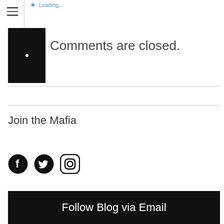Loading...
[Figure (logo): Black square with small white dot, website logo]
Comments are closed.
Join the Mafia
[Figure (infographic): Social media icons: Facebook, Twitter, Instagram]
Follow Blog via Email